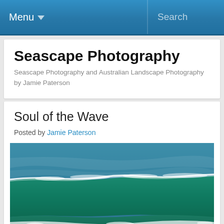Menu ▼   Search
Seascape Photography
Seascape Photography and Australian Landscape Photography by Jamie Paterson
Soul of the Wave
Posted by Jamie Paterson
[Figure (photo): Ocean wave photograph showing turquoise-green wave with white foam crest against blue ocean background, seascape photography]